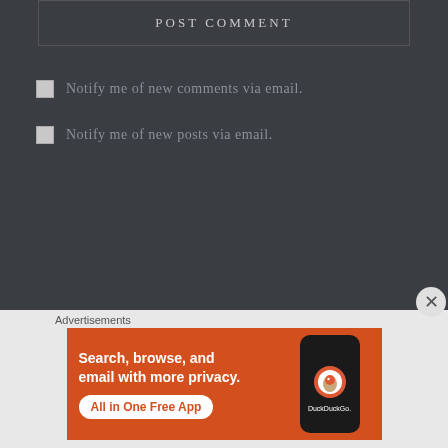POST COMMENT
Notify me of new comments via email.
Notify me of new posts via email.
Search ...
Advertisements
[Figure (screenshot): DuckDuckGo advertisement banner showing 'Search, browse, and email with more privacy. All in One Free App' with a phone mockup and DuckDuckGo logo on an orange background.]